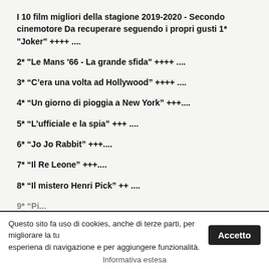I 10 film migliori della stagione 2019-2020 - Secondo cinemotore Da recuperare seguendo i propri gusti 1* "Joker" ++++ ....
2* "Le Mans '66 - La grande sfida" ++++ ....
3* “C’era una volta ad Hollywood” ++++ ....
4* “Un giorno di pioggia a New York” +++....
5* “L’ufficiale e la spia” +++ ....
6* “Jo Jo Rabbit” +++....
7* “Il Re Leone” +++....
8* “Il mistero Henri Pick” ++ ....
Questo sito fa uso di cookies, anche di terze parti, per migliorare la tua esperienza di navigazione e per aggiungere funzionalità.
Accetto
Informativa estesa